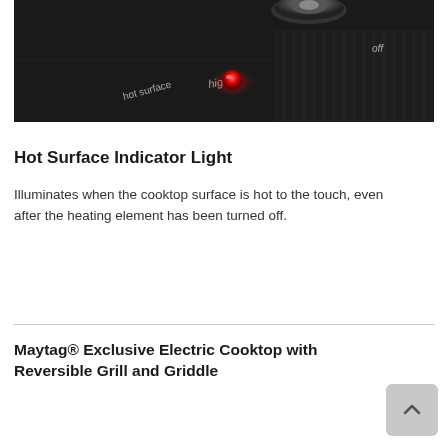[Figure (photo): Close-up photo of a black electric cooktop surface showing a control knob with 'high' and 'off' labels, a glowing red hot surface indicator light, and text reading 'hot surface' on the cooktop]
Hot Surface Indicator Light
Illuminates when the cooktop surface is hot to the touch, even after the heating element has been turned off.
Maytag® Exclusive Electric Cooktop with Reversible Grill and Griddle